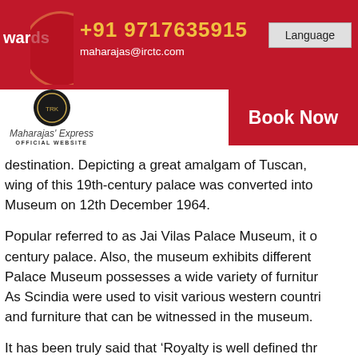wards  +91 9717635915  maharajas@irctc.com  Language
[Figure (logo): Maharajas' Express official website logo with dark circular emblem]
Book Now
destination. Depicting a great amalgam of Tuscan, wing of this 19th-century palace was converted into Museum on 12th December 1964.
Popular referred to as Jai Vilas Palace Museum, it o century palace. Also, the museum exhibits different Palace Museum possesses a wide variety of furnitur As Scindia were used to visit various western countri and furniture that can be witnessed in the museum.
It has been truly said that ‘Royalty is well defined thr are some of the factors that largely depends on the open palanquins, silver buggy, and gifted carriages. The miniature segment of the museum consists mini Tomar. In addition, 3D, tondos, Western art oil, and M